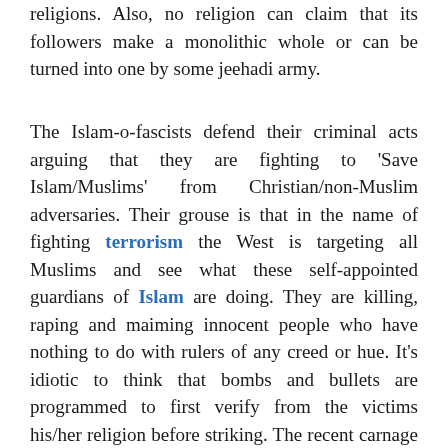religions. Also, no religion can claim that its followers make a monolithic whole or can be turned into one by some jeehadi army.
The Islam-o-fascists defend their criminal acts arguing that they are fighting to 'Save Islam/Muslims' from Christian/non-Muslim adversaries. Their grouse is that in the name of fighting terrorism the West is targeting all Muslims and see what these self-appointed guardians of Islam are doing. They are killing, raping and maiming innocent people who have nothing to do with rulers of any creed or hue. It's idiotic to think that bombs and bullets are programmed to first verify from the victims his/her religion before striking. The recent carnage at Dacca showed that even if these criminals manually verify every hostage's religion there would be Muslims who would choose to be